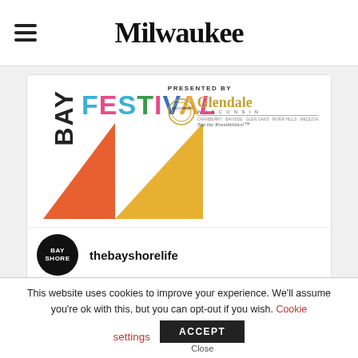Milwaukee
[Figure (screenshot): Bay Festival logo with colorful letters, geometric triangle shapes in orange and yellow, and Glendale Wisconsin sponsor logo]
thebayshorelife
SAVE THE DATE! 🍂 Join us on September 17 and 18 for Bayshore's Fall Art ...
This website uses cookies to improve your experience. We'll assume you're ok with this, but you can opt-out if you wish. Cookie settings ACCEPT Close